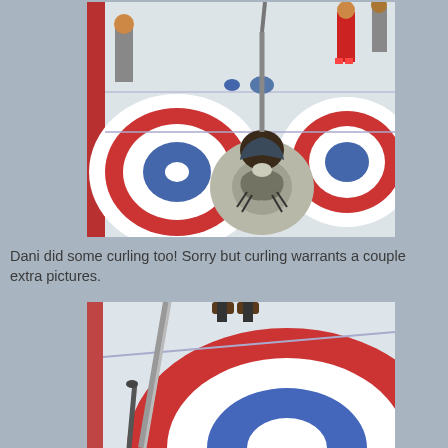[Figure (photo): Person seen from behind holding a curling broom on an ice rink, wearing a gray sweater with dark pattern. Curling house rings visible in red, white, and blue. Other players visible in the background.]
Dani did some curling too!  Sorry but curling warrants a couple extra pictures.
[Figure (photo): Close-up view of a curling rink showing the ice surface with red and blue house rings, a curling broom/stone handle visible, and someone's feet in brown shoes in the background.]